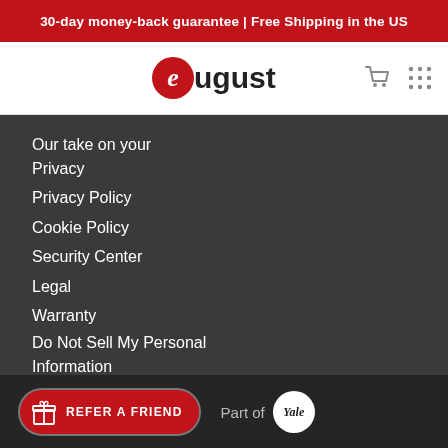30-day money-back guarantee | Free Shipping in the US
[Figure (logo): August smart lock brand logo with red circular 'e' and 'ugust' text]
Our take on your Privacy
Privacy Policy
Cookie Policy
Security Center
Legal
Warranty
Do Not Sell My Personal Information
[Figure (logo): Refer a Friend button with gift icon and Yale logo badge]
Part of Yale